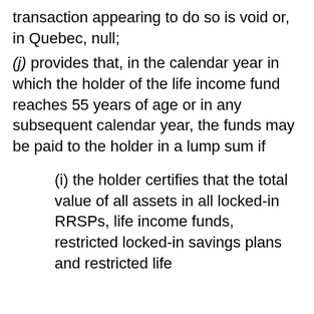transaction appearing to do so is void or, in Quebec, null;
(j) provides that, in the calendar year in which the holder of the life income fund reaches 55 years of age or in any subsequent calendar year, the funds may be paid to the holder in a lump sum if
(i) the holder certifies that the total value of all assets in all locked-in RRSPs, life income funds, restricted locked-in savings plans and restricted life